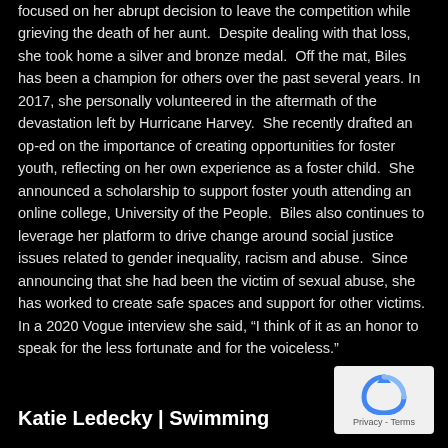focused on her abrupt decision to leave the competition while grieving the death of her aunt. Despite dealing with that loss, she took home a silver and bronze medal. Off the mat, Biles has been a champion for others over the past several years. In 2017, she personally volunteered in the aftermath of the devastation left by Hurricane Harvey. She recently drafted an op-ed on the importance of creating opportunities for foster youth, reflecting on her own experience as a foster child. She announced a scholarship to support foster youth attending an online college, University of the People. Biles also continues to leverage her platform to drive change around social justice issues related to gender inequality, racism and abuse. Since announcing that she had been the victim of sexual abuse, she has worked to create safe spaces and support for other victims. In a 2020 Vogue interview she said, “I think of it as an honor to speak for the less fortunate and for the voiceless.”
Katie Ledecky | Swimming